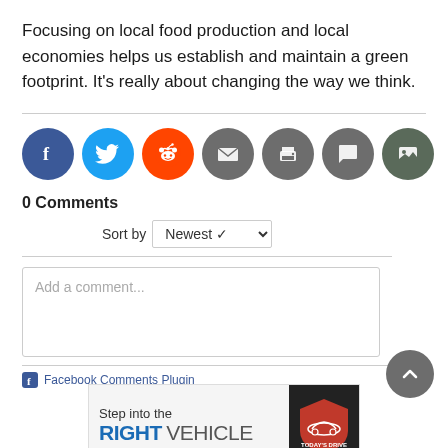Focusing on local food production and local economies helps us establish and maintain a green footprint. It's really about changing the way we think.
[Figure (infographic): Row of social sharing icon buttons: Facebook (blue), Twitter (light blue), Reddit (orange), Email (grey), Print (grey), Comment (grey), Image (dark grey-green)]
0 Comments
Sort by Newest
Add a comment...
Facebook Comments Plugin
[Figure (screenshot): Advertisement banner: Step into the RIGHT VEHICLE with Today's Drive logo]